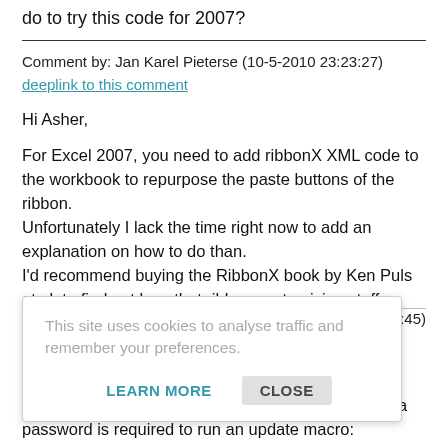do to try this code for 2007?
Comment by: Jan Karel Pieterse (10-5-2010 23:23:27)
deeplink to this comment
Hi Asher,
For Excel 2007, you need to add ribbonX XML code to the workbook to repurpose the paste buttons of the ribbon.
Unfortunately I lack the time right now to add an explanation on how to do than.
I'd recommend buying the RibbonX book by Ken Puls et al. to find out how that ribbon customising stuff works.
This site uses cookies to analyse traffic and remember your preferences.
:45)
I have to set an internal audit control such that if the transaction total is greater than a preset value then a password is required to run an update macro: